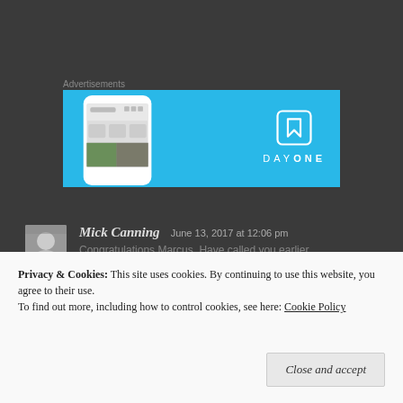Advertisements
[Figure (illustration): DayOne app advertisement banner with light blue background showing a smartphone displaying the app interface on the left, and the DayOne logo (bookmark icon) with 'DAYONE' text on the right]
Mick Canning  June 13, 2017 at 12:06 pm
Privacy & Cookies: This site uses cookies. By continuing to use this website, you agree to their use.
To find out more, including how to control cookies, see here: Cookie Policy
Close and accept